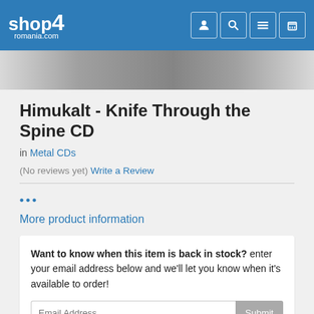shop4romania.com
Himukalt - Knife Through the Spine CD
in Metal CDs
(No reviews yet) Write a Review
...
More product information
Want to know when this item is back in stock? enter your email address below and we'll let you know when it's available to order!